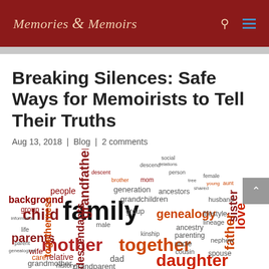Memories & Memoirs
Breaking Silences: Safe Ways for Memoirists to Tell Their Truths
Aug 13, 2018 | Blog | 2 comments
[Figure (infographic): Word cloud featuring family-related terms: family (largest, black), mother, together, daughter, child, parents, grandfather, genealogy, father, love, sister, background, people, grandchildren, generation, ancestors, ancestry, parenting, descendants, relative, grandmother, dad, grandparent, kinship, togetherness, care, history, wife, uncle, nephew, spouse, husband, lineage, cousin, lifestyle, and many more in red, dark red, orange, and black colors arranged in a cloud shape.]